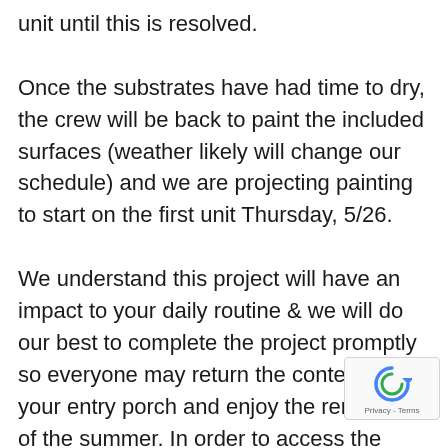unit until this is resolved.

Once the substrates have had time to dry, the crew will be back to paint the included surfaces (weather likely will change our schedule) and we are projecting painting to start on the first unit Thursday, 5/26.

We understand this project will have an impact to your daily routine & we will do our best to complete the project promptly so everyone may return the contents to your entry porch and enjoy the remainder of the summer. In order to access the most up to date information and any weather delays impacts, check back here frequently.
[Figure (logo): Google reCAPTCHA badge with spinning arrow logo and Privacy - Terms text]